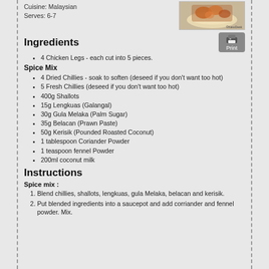Cuisine: Malaysian
Serves: 6-7
[Figure (photo): Photo of Malaysian chicken dish on a white plate]
Ingredients
[Figure (other): Print button icon]
4 Chicken Legs - each cut into 5 pieces.
Spice Mix
4 Dried Chillies - soak to soften (deseed if you don't want too hot)
5 Fresh Chillies (deseed if you don't want too hot)
400g Shallots
15g Lengkuas (Galangal)
30g Gula Melaka (Palm Sugar)
35g Belacan (Prawn Paste)
50g Kerisik (Pounded Roasted Coconut)
1 tablespoon Coriander Powder
1 teaspoon fennel Powder
200ml coconut milk
Instructions
Spice mix :
1. Blend chillies, shallots, lengkuas, gula Melaka, belacan and kerisik.
2. Put blended ingredients into a saucepot and add corriander and fennel powder. Mix.